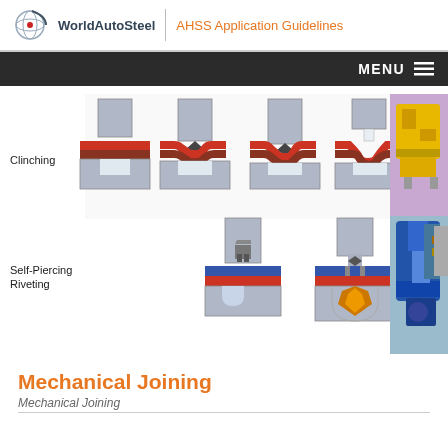WorldAutoSteel | AHSS Application Guidelines
[Figure (illustration): Diagram showing Clinching process in 4 stages (punch pressing two metal sheets into a die to form a mechanical interlock) with label 'Clinching', alongside a photo of a yellow clinching machine]
[Figure (illustration): Diagram showing Self-Piercing Riveting process in 2 stages (rivet being driven through top sheet and flaring into bottom sheet) with label 'Self-Piercing Riveting', alongside a photo of a blue self-piercing riveting tool/gun]
Mechanical Joining
Mechanical Joining